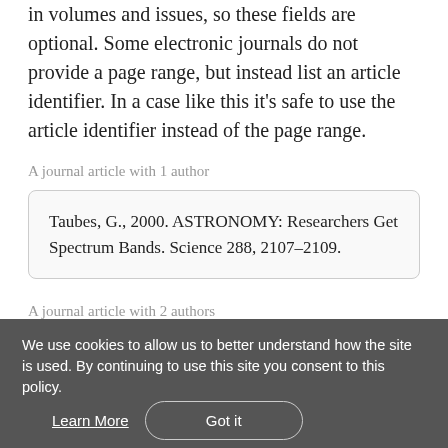in volumes and issues, so these fields are optional. Some electronic journals do not provide a page range, but instead list an article identifier. In a case like this it's safe to use the article identifier instead of the page range.
A journal article with 1 author
Taubes, G., 2000. ASTRONOMY: Researchers Get Spectrum Bands. Science 288, 2107–2109.
A journal article with 2 authors
We use cookies to allow us to better understand how the site is used. By continuing to use this site you consent to this policy.
Learn More
Got it